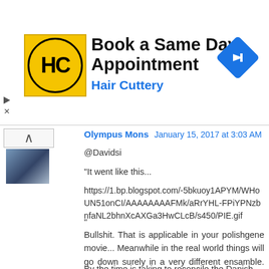[Figure (screenshot): Hair Cuttery advertisement banner: yellow square logo with HC text, title 'Book a Same Day Appointment', subtitle 'Hair Cuttery', blue navigation diamond icon on the right, play and X icons on the left edge]
Olympus Mons  January 15, 2017 at 3:03 AM
@Davidsi
"It went like this...
https://1.bp.blogspot.com/-5bkuoy1APYM/WHoUN51onCI/AAAAAAAAFMk/aRrYHL-FPiYPNzbnfaNL2bhnXcAXGa3HwCLcB/s450/PIE.gif
"
Bullshit. That is applicable in your polishgene movie... Meanwhile in the real world things will go down surely in a very different ensamble. How different will it be is what we will see.
By the time is taking to reconcile the Danish ball hooker...